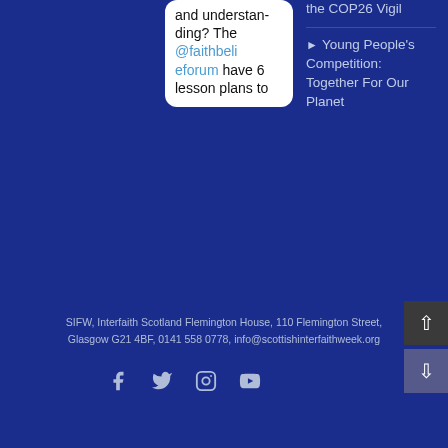and understanding? The @faithbelieforum have 6 lesson plans to
Young People's Competition: Together For Our Planet
SIFW, Interfaith Scotland Flemington House, 110 Flemington Street, Glasgow G21 4BF, 0141 558 0778, info@scottishinterfaithweek.org
[Figure (other): Social media icons row: Facebook, Twitter, Instagram, YouTube]